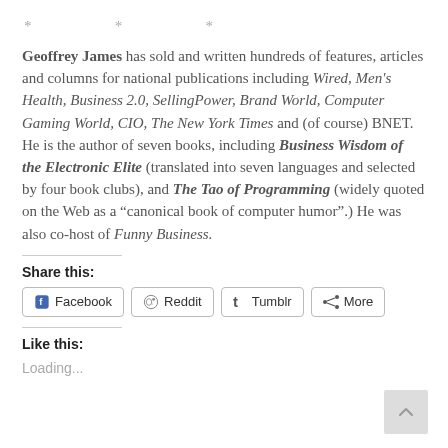* * *
Geoffrey James has sold and written hundreds of features, articles and columns for national publications including Wired, Men's Health, Business 2.0, SellingPower, Brand World, Computer Gaming World, CIO, The New York Times and (of course) BNET. He is the author of seven books, including Business Wisdom of the Electronic Elite (translated into seven languages and selected by four book clubs), and The Tao of Programming (widely quoted on the Web as a “canonical book of computer humor”.) He was also co-host of Funny Business.
Share this:
Facebook Reddit Tumblr More
Like this:
Loading...